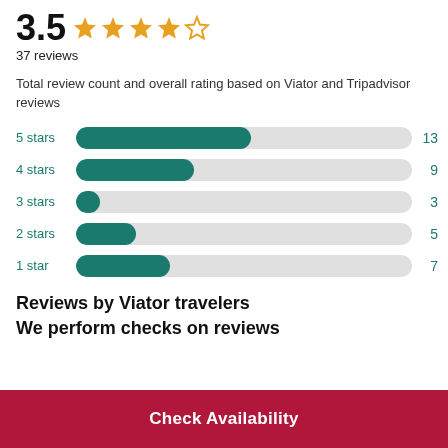3.5 ★★★★☆
37 reviews
Total review count and overall rating based on Viator and Tripadvisor reviews
[Figure (bar-chart): Star rating distribution]
Reviews by Viator travelers
We perform checks on reviews
Check Availability